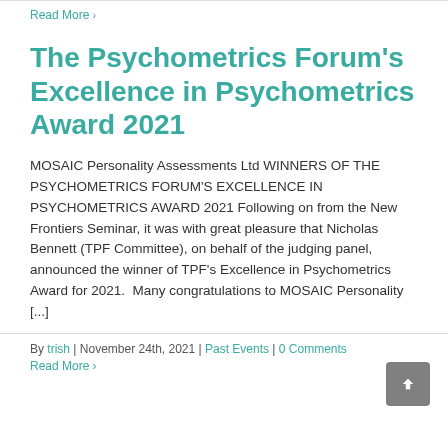Read More ›
The Psychometrics Forum's Excellence in Psychometrics Award 2021
MOSAIC Personality Assessments Ltd WINNERS OF THE PSYCHOMETRICS FORUM'S EXCELLENCE IN PSYCHOMETRICS AWARD 2021 Following on from the New Frontiers Seminar, it was with great pleasure that Nicholas Bennett (TPF Committee), on behalf of the judging panel, announced the winner of TPF's Excellence in Psychometrics Award for 2021.  Many congratulations to MOSAIC Personality [...]
By trish | November 24th, 2021 | Past Events | 0 Comments
Read More ›